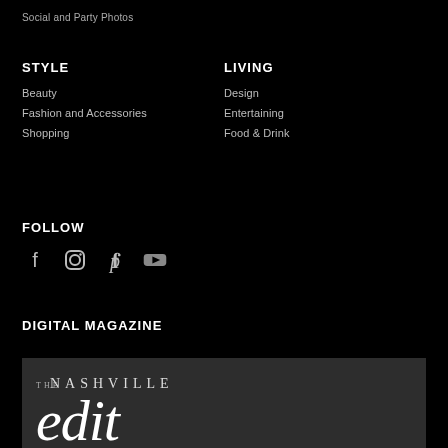Social and Party Photos
STYLE
LIVING
Beauty
Design
Fashion and Accessories
Entertaining
Shopping
Food & Drink
FOLLOW
[Figure (other): Social media icons: Facebook, Instagram, Pinterest, YouTube]
DIGITAL MAGAZINE
[Figure (other): The Nashville Edit digital magazine cover showing masthead with 'THE NASHVILLE edit' in serif font on dark grey background]